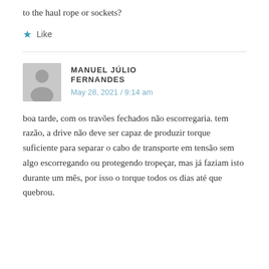to the haul rope or sockets?
★ Like
MANUEL JÚLIO FERNANDES
May 28, 2021 / 9:14 am
boa tarde, com os travões fechados não escorregaria. tem razão, a drive não deve ser capaz de produzir torque suficiente para separar o cabo de transporte em tensão sem algo escorregando ou protegendo tropeçar, mas já faziam isto durante um mês, por isso o torque todos os dias até que quebrou.